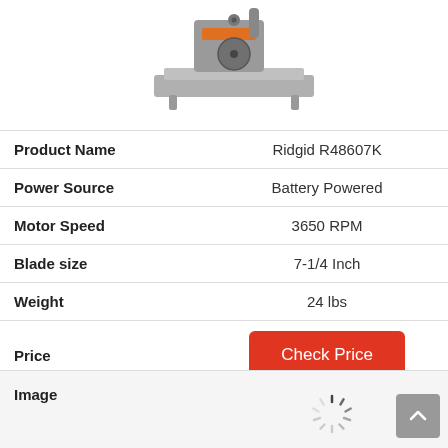[Figure (photo): Partial view of a Ridgid R48607K miter saw from above, showing the blade guard and orange accents on a gray body]
| Attribute | Value |
| --- | --- |
| Product Name | Ridgid R48607K |
| Power Source | Battery Powered |
| Motor Speed | 3650 RPM |
| Blade size | 7-1/4 Inch |
| Weight | 24 lbs |
| Price | Check Price |
[Figure (photo): Loading spinner icon and partial image area with light gray background]
Image